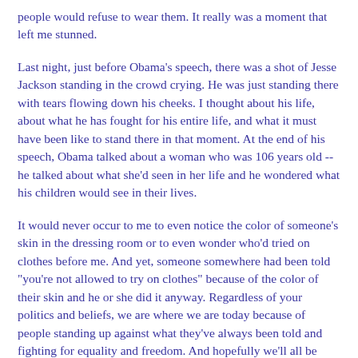people would refuse to wear them. It really was a moment that left me stunned.
Last night, just before Obama's speech, there was a shot of Jesse Jackson standing in the crowd crying. He was just standing there with tears flowing down his cheeks. I thought about his life, about what he has fought for his entire life, and what it must have been like to stand there in that moment. At the end of his speech, Obama talked about a woman who was 106 years old -- he talked about what she'd seen in her life and he wondered what his children would see in their lives.
It would never occur to me to even notice the color of someone's skin in the dressing room or to even wonder who'd tried on clothes before me. And yet, someone somewhere had been told "you're not allowed to try on clothes" because of the color of their skin and he or she did it anyway. Regardless of your politics and beliefs, we are where we are today because of people standing up against what they've always been told and fighting for equality and freedom. And hopefully we'll all be willing to continue to stand up for our beliefs and for our truths.